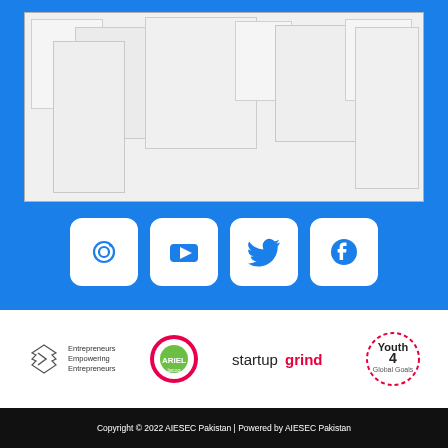[Figure (illustration): Blue background section with overlapping white/gray rectangles representing a slideshow or image gallery placeholder, and four social media icon buttons (Instagram, YouTube, Twitter, Facebook) in white rounded boxes]
[Figure (logo): Entrepreneurs Empowering Entrepreneurs logo with stacked arrows icon]
[Figure (logo): Ariel laundry detergent logo - circular green and pink design]
[Figure (logo): Startup Grind logo in black and red text]
[Figure (logo): Youth 4 Global Goals logo in circular dashed border]
Copyright © 2022 AIESEC Pakistan | Powered by AIESEC Pakistan